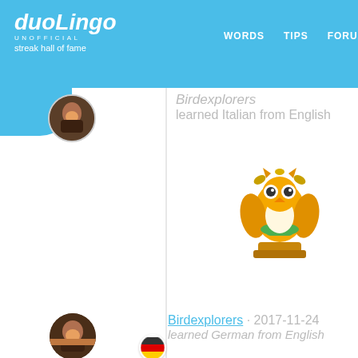duoLingo UNOFFICIAL streak hall of fame | WORDS | TIPS | FORUM
Birdexplorers · learned Italian from English
[Figure (illustration): Gold Duolingo owl trophy figurine with green scarf and gold laurel wreath]
Birdexplorers · 2017-11-24 · learned German from English
[Figure (illustration): Faded/ghosted silver Duolingo owl trophy figurine]
Birdexplorers · 2017-11-20 · learned Portuguese from English
[Figure (illustration): Partial Duolingo trophy visible at the bottom of the page]